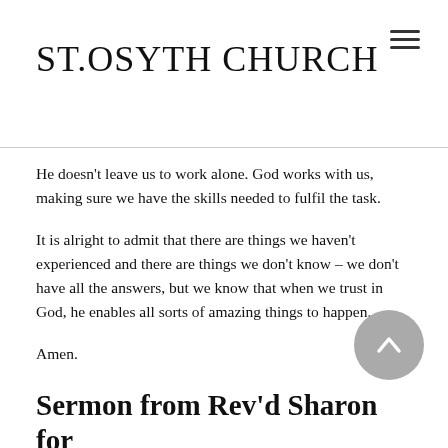ST.OSYTH CHURCH
He doesn't leave us to work alone. God works with us, making sure we have the skills needed to fulfil the task.
It is alright to admit that there are things we haven't experienced and there are things we don't know – we don't have all the answers, but we know that when we trust in God, he enables all sorts of amazing things to happen.
Amen.
Sermon from Rev'd Sharon for